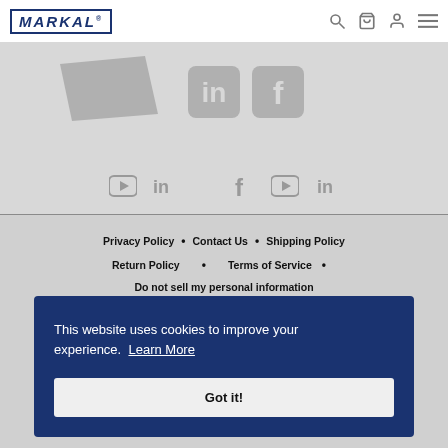MARKAL
[Figure (screenshot): Social media icons area - YouTube, LinkedIn, Facebook icons in gray on light gray background]
Privacy Policy • Contact Us • Shipping Policy
Return Policy • Terms of Service •
Do not sell my personal information
This website uses cookies to improve your experience. Learn More
Got it!